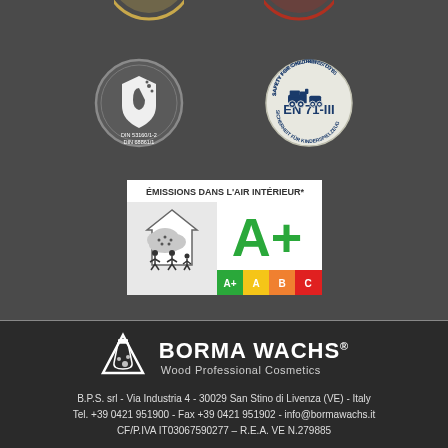[Figure (logo): DIN 53160/1-2 DIN 68861/1 water/protection certification badge - circular gray badge with shield and water drop icon]
[Figure (logo): EN 71-III Safety for Children's Toys certification badge - circular badge with toy train icon]
[Figure (logo): Emissions dans l'air intérieur A+ rating label - French indoor air emissions label showing house with family and A+ B C rating scale with A+ highlighted in green]
[Figure (logo): Borma Wachs Wood Professional Cosmetics company logo - white triangle/flask icon with company name]
B.P.S. srl - Via Industria 4 - 30029 San Stino di Livenza (VE) - Italy
Tel. +39 0421 951900 - Fax +39 0421 951902 - info@bormawachs.it
CF/P.IVA IT03067590277 – R.E.A. VE N.279885